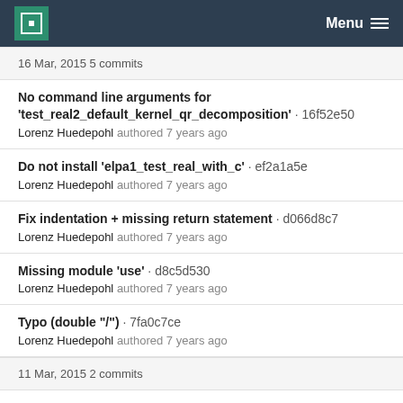MPCDF Menu
16 Mar, 2015 5 commits
No command line arguments for 'test_real2_default_kernel_qr_decomposition' · 16f52e50
Lorenz Huedepohl authored 7 years ago
Do not install 'elpa1_test_real_with_c' · ef2a1a5e
Lorenz Huedepohl authored 7 years ago
Fix indentation + missing return statement · d066d8c7
Lorenz Huedepohl authored 7 years ago
Missing module 'use' · d8c5d530
Lorenz Huedepohl authored 7 years ago
Typo (double "/") · 7fa0c7ce
Lorenz Huedepohl authored 7 years ago
11 Mar, 2015 2 commits